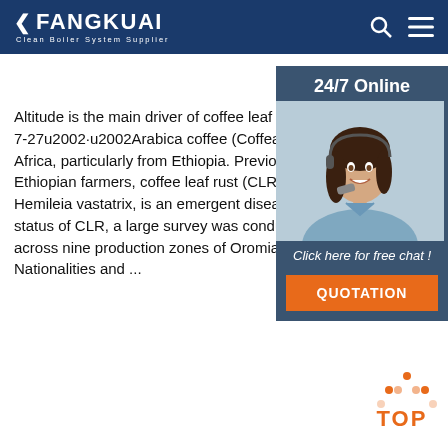FANGKUAI Clean Boiler System Supplier
Altitude is the main driver of coffee leaf rust ep... 2020-7-27u2002·u2002Arabica coffee (Coffea ara... from Africa, particularly from Ethiopia. Previous... to Ethiopian farmers, coffee leaf rust (CLR), caus... Hemileia vastatrix, is an emergent disease globa... status of CLR, a large survey was conducted in 4... across nine production zones of Oromia and So... Nationalities and ...
[Figure (photo): Customer service representative with headset, 24/7 Online chat panel with QUOTATION button]
Get Price
[Figure (other): Back to top button with orange dot pattern and TOP text]